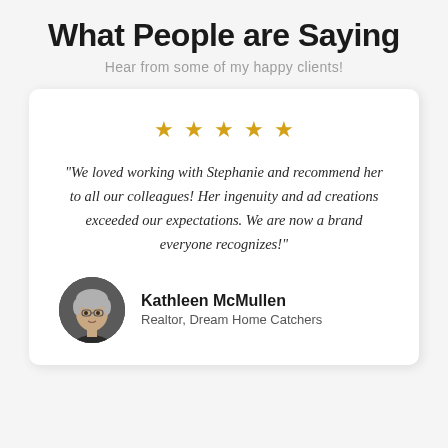What People are Saying
Hear from some of my happy clients!
★ ★ ★ ★ ★
"We loved working with Stephanie and recommend her to all our colleagues! Her ingenuity and ad creations exceeded our expectations. We are now a brand everyone recognizes!"
Kathleen McMullen
Realtor, Dream Home Catchers